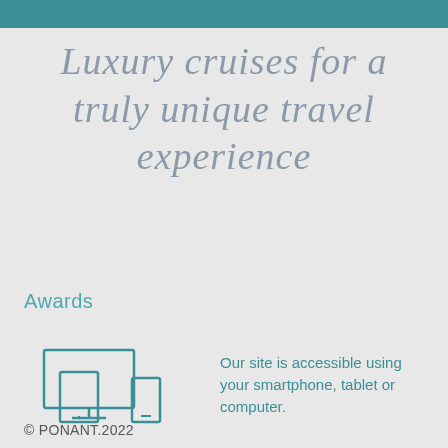Luxury cruises for a truly unique travel experience
Awards
[Figure (illustration): Icon showing a monitor, tablet, and smartphone representing multi-device accessibility]
Our site is accessible using your smartphone, tablet or computer.
© PONANT.2022